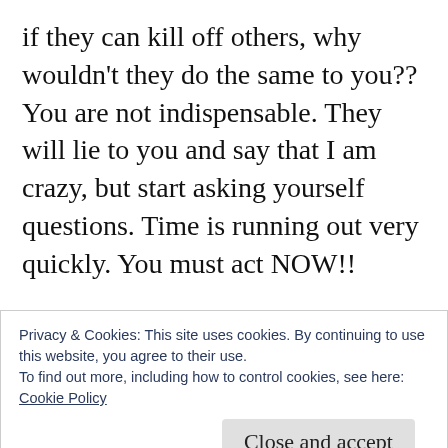if they can kill off others, why wouldn't they do the same to you?? You are not indispensable. They will lie to you and say that I am crazy, but start asking yourself questions. Time is running out very quickly. You must act NOW!!

Also, do not visit dentists or doctors. Dentists are inserting fillings, implants that contain microchips for mind control. Doctors have been inserting screws containing microchips during procedures for knee or hip replacements. Don't
Privacy & Cookies: This site uses cookies. By continuing to use this website, you agree to their use.
To find out more, including how to control cookies, see here:
Cookie Policy
Close and accept
Snopes.com will try to call this a hoax but ask